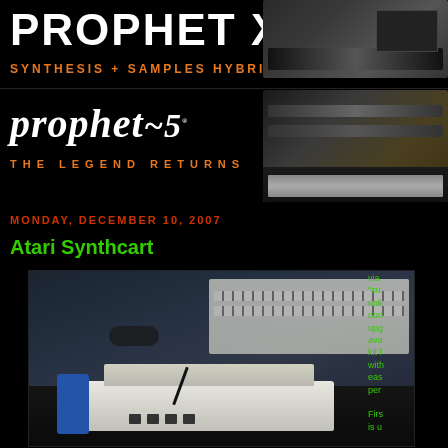[Figure (photo): Prophet X synthesizer product banner with white bold text 'PROPHET X' on black background, orange text 'SYNTHESIS + SAMPLES HYBRID SYNTH', with keyboard/synth hardware photo on right]
[Figure (photo): Prophet-5 synthesizer product banner with italic white text 'prophet~5' and orange spaced text 'THE LEGEND RETURNS', with synthesizer keyboard image on right]
MONDAY, DECEMBER 10, 2007
Atari Synthcart
[Figure (photo): Photo of an Atari 2600 console with blue side panel on a desk with keyboard and various items]
via
"cu
unli
non
upg
ava
kit f
with
eas
per

Firs
is u